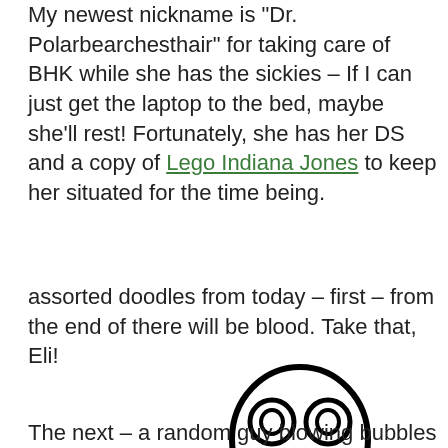My newest nickname is 'Dr. Polarbearchesthair' for taking care of BHK while she has the sickies – If I can just get the laptop to the bed, maybe she'll rest! Fortunately, she has her DS and a copy of Lego Indiana Jones to keep her situated for the time being.
assorted doodles from today – first – from the end of there will be blood. Take that, Eli!
[Figure (illustration): A simple hand-drawn cartoon face with large round eyes, a small nose, and a frowning mouth, drawn in black ink on white background]
The next – a random guy blowing bubbles